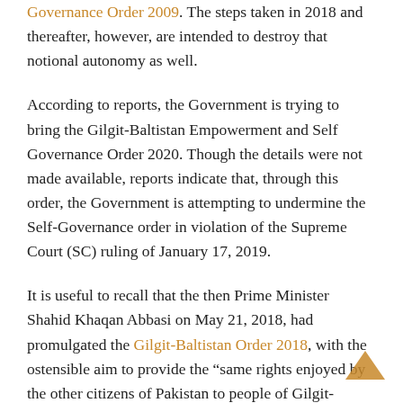Governance Order 2009. The steps taken in 2018 and thereafter, however, are intended to destroy that notional autonomy as well.
According to reports, the Government is trying to bring the Gilgit-Baltistan Empowerment and Self Governance Order 2020. Though the details were not made available, reports indicate that, through this order, the Government is attempting to undermine the Self-Governance order in violation of the Supreme Court (SC) ruling of January 17, 2019.
It is useful to recall that the then Prime Minister Shahid Khaqan Abbasi on May 21, 2018, had promulgated the Gilgit-Baltistan Order 2018, with the ostensible aim to provide the “same rights enjoyed by the other citizens of Pakistan to people of Gilgit-Baltistan.” The real aim was, in fact, to